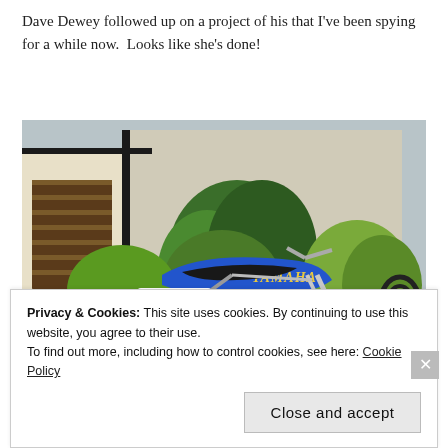Dave Dewey followed up on a project of his that I've been spying for a while now.  Looks like she's done!
[Figure (photo): Blue Yamaha flat-track motorcycle with number 2 race plate, parked in front of a house with shrubs, chrome engine visible]
Privacy & Cookies: This site uses cookies. By continuing to use this website, you agree to their use.
To find out more, including how to control cookies, see here: Cookie Policy
Close and accept